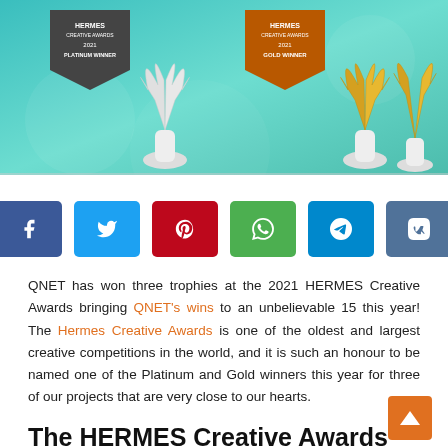[Figure (photo): Hermes Creative Awards trophies — silver angel wing trophies with platinum and gold winner ribbons/banners on a teal background]
[Figure (infographic): Row of social media share buttons: Facebook (blue), Twitter (light blue), Pinterest (red), WhatsApp (green), Telegram (blue), VK (slate blue)]
QNET has won three trophies at the 2021 HERMES Creative Awards bringing QNET's wins to an unbelievable 15 this year! The Hermes Creative Awards is one of the oldest and largest creative competitions in the world, and it is such an honour to be named one of the Platinum and Gold winners this year for three of our projects that are very close to our hearts.
The HERMES Creative Awards
This internationally renowned body has a reputation as one of the...